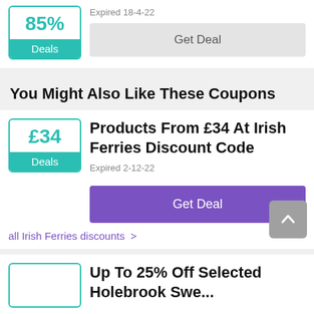[Figure (other): Deal badge showing 85% with teal Deals label]
Expired 18-4-22
Get Deal
You Might Also Like These Coupons
[Figure (other): Deal badge showing £34 with teal Deals label]
Products From £34 At Irish Ferries Discount Code
Expired 2-12-22
Get Deal
all Irish Ferries discounts >
Up To 25% Off Selected Holebrook Swe...